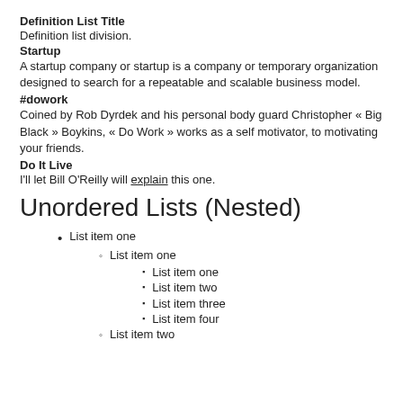Definition List Title
Definition list division.
Startup
A startup company or startup is a company or temporary organization designed to search for a repeatable and scalable business model.
#dowork
Coined by Rob Dyrdek and his personal body guard Christopher « Big Black » Boykins, « Do Work » works as a self motivator, to motivating your friends.
Do It Live
I'll let Bill O'Reilly will explain this one.
Unordered Lists (Nested)
List item one
List item one
List item one
List item two
List item three
List item four
List item two